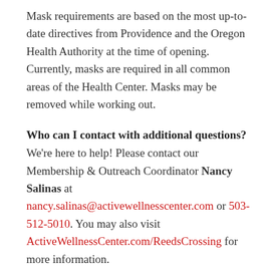Mask requirements are based on the most up-to-date directives from Providence and the Oregon Health Authority at the time of opening. Currently, masks are required in all common areas of the Health Center. Masks may be removed while working out.
Who can I contact with additional questions?
We're here to help! Please contact our Membership & Outreach Coordinator Nancy Salinas at nancy.salinas@activewellnesscenter.com or 503-512-5010. You may also visit ActiveWellnessCenter.com/ReedsCrossing for more information.